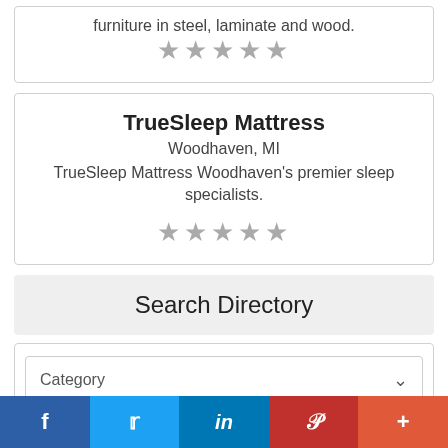furniture in steel, laminate and wood.
★★★★★
TrueSleep Mattress
Woodhaven, MI
TrueSleep Mattress Woodhaven's premier sleep specialists.
★★★★★
Search Directory
Category
Keywords